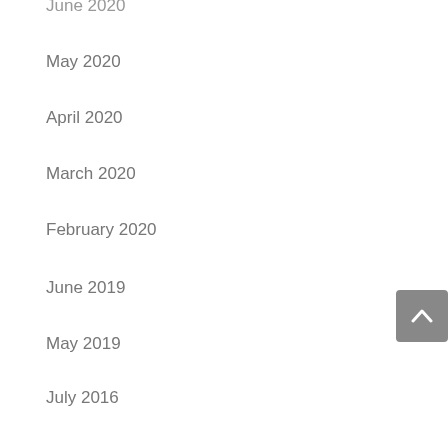June 2020
May 2020
April 2020
March 2020
February 2020
June 2019
May 2019
July 2016
Categories
Air Purification
Audio
Google